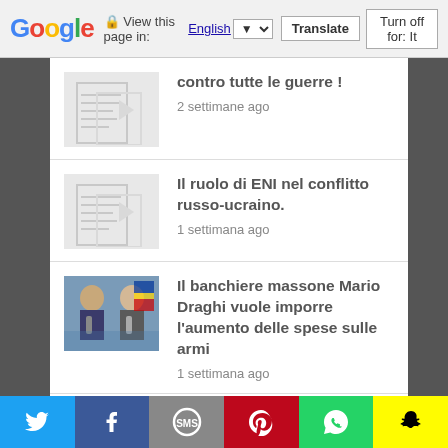Google Translate bar: View this page in: English [dropdown] [Translate] Turn off for: It
contro tutte le guerre !
2 settimane ago
Il ruolo di ENI nel conflitto russo-ucraino.
1 settimana ago
Il banchiere massone Mario Draghi vuole imporre l’aumento delle spese sulle armi
1 settimana ago
Inziative contro la guerra a Torino Venerdi’ e Sabato 8 e 9 Aprile
3 giorni ago
Social share bar: Twitter, Facebook, SMS, Pinterest, WhatsApp, Snapchat